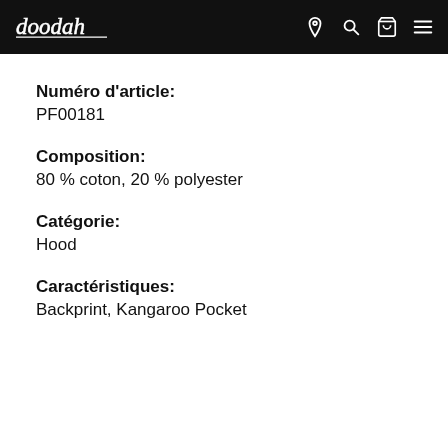doodah — navigation header with location, search, cart, and menu icons
Numéro d'article:
PF00181
Composition:
80 % coton, 20 % polyester
Catégorie:
Hood
Caractéristiques:
Backprint, Kangaroo Pocket